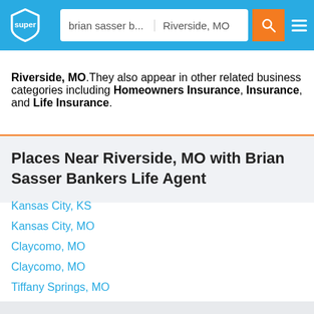brian sasser b... | Riverside, MO
Riverside, MO. They also appear in other related business categories including Homeowners Insurance, Insurance, and Life Insurance.
Places Near Riverside, MO with Brian Sasser Bankers Life Agent
Kansas City, KS
Kansas City, MO
Claycomo, MO
Claycomo, MO
Tiffany Springs, MO
Waldron, MO